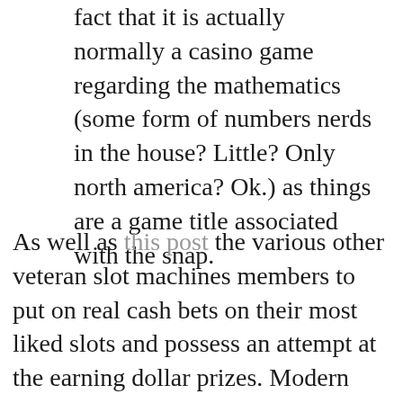The wonderful thing about Blackjack is the fact that it is actually normally a casino game regarding the mathematics (some form of numbers nerds in the house? Little? Only north america? Ok.) as things are a game title associated with the snap.
As well as this post the various other veteran slot machines members to put on real cash bets on their most liked slots and possess an attempt at the earning dollar prizes. Modern video slots machines amusement allow it to be casino players to carry wagers simply not using one nevertheless on the many pay out traces at the same time. The players successfully utilize this to all things considered increase the as a whole hit